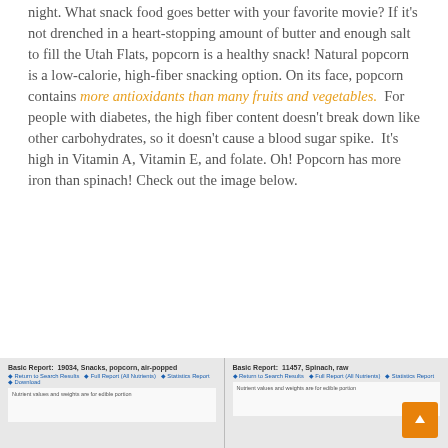night. What snack food goes better with your favorite movie? If it's not drenched in a heart-stopping amount of butter and enough salt to fill the Utah Flats, popcorn is a healthy snack! Natural popcorn is a low-calorie, high-fiber snacking option. On its face, popcorn contains more antioxidants than many fruits and vegetables. For people with diabetes, the high fiber content doesn't break down like other carbohydrates, so it doesn't cause a blood sugar spike. It's high in Vitamin A, Vitamin E, and folate. Oh! Popcorn has more iron than spinach! Check out the image below.
[Figure (screenshot): Two side-by-side USDA nutrition database screenshots: left shows Basic Report 19034 Snacks popcorn air-popped, right shows Basic Report 11457 Spinach raw]